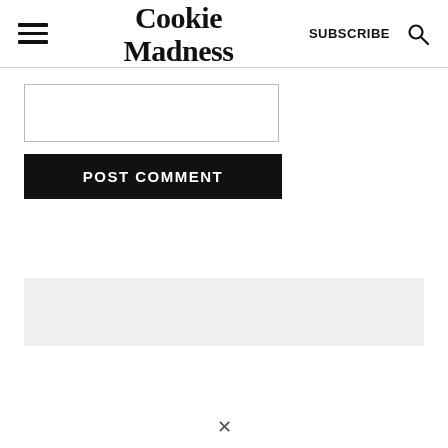Cookie Madness | SUBSCRIBE
[Figure (other): Empty comment input text box]
POST COMMENT
[Figure (other): Light grey advertisement placeholder block]
X (close/collapse arrow at bottom)